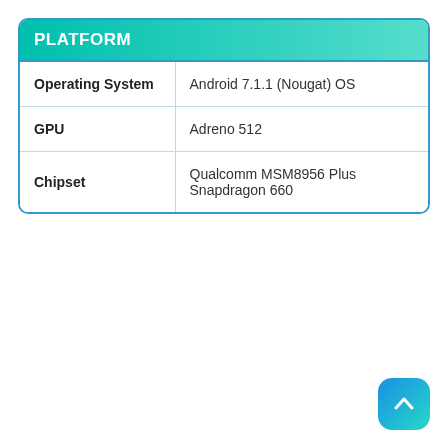|  |  |
| --- | --- |
| Operating System | Android 7.1.1 (Nougat) OS |
| GPU | Adreno 512 |
| Chipset | Qualcomm MSM8956 Plus Snapdragon 660 |
[Figure (other): Blue rounded square button with upward chevron arrow icon, positioned bottom-right]